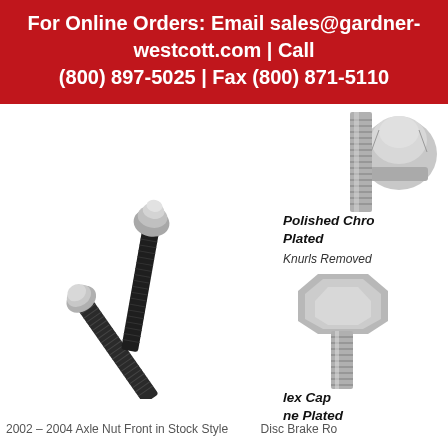For Online Orders: Email sales@gardner-westcott.com | Call (800) 897-5025 | Fax (800) 871-5110
[Figure (photo): Two black threaded wheel studs crossed/arranged diagonally with a chrome acorn nut visible, plus a separate chrome acorn nut above]
[Figure (photo): Top portion of a polished chrome plated threaded bolt/stud]
Polished Chrome Plated
Knurls Removed
[Figure (photo): Hex cap screw chrome plated, showing hex head and threaded shank]
Hex Cap Chrome Plated
2002 – 2004 Axle Nut Front in Stock Style
Disc Brake Ro